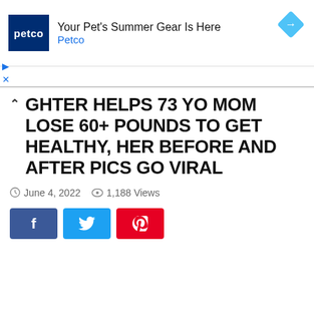[Figure (screenshot): Petco advertisement banner with logo, text 'Your Pet's Summer Gear Is Here', 'Petco', and a blue diamond arrow icon]
GHTER HELPS 73 YO MOM LOSE 60+ POUNDS TO GET HEALTHY, HER BEFORE AND AFTER PICS GO VIRAL
June 4, 2022   1,188 Views
[Figure (infographic): Social sharing buttons: Facebook (blue), Twitter (light blue), Pinterest (red)]